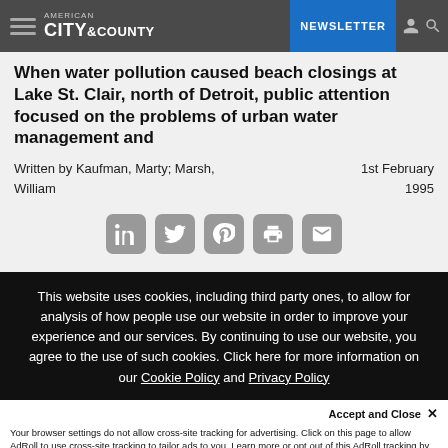AMERICAN CITY & COUNTY | NEWSLETTER
When water pollution caused beach closings at Lake St. Clair, north of Detroit, public attention focused on the problems of urban water management and
Written by Kaufman, Marty; Marsh, William | 1st February 1995
[Figure (other): Social sharing icons: LinkedIn, Twitter, Pinterest, Print, Email]
This website uses cookies, including third party ones, to allow for analysis of how people use our website in order to improve your experience and our services. By continuing to use our website, you agree to the use of such cookies. Click here for more information on our Cookie Policy and Privacy Policy
Accept and Close ✕
Your browser settings do not allow cross-site tracking for advertising. Click on this page to allow AdRoll to use cross-site tracking to tailor ads to you. Learn more or opt out of this AdRoll tracking by clicking here. This message only appears once.